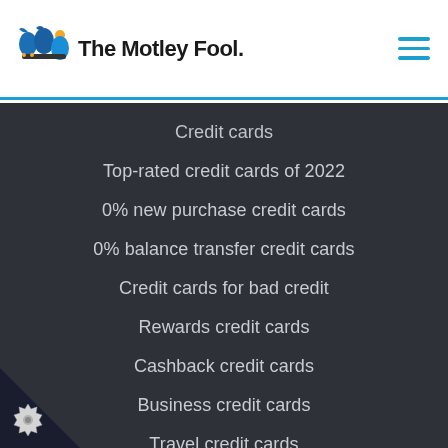The Motley Fool
Credit cards
Top-rated credit cards of 2022
0% new purchase credit cards
0% balance transfer credit cards
Credit cards for bad credit
Rewards credit cards
Cashback credit cards
Business credit cards
Travel credit cards
Prepaid Cards